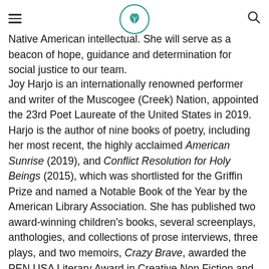Navigation header with hamburger menu, logo, and search icon
brings with her tremendous wisdom, literary, musical and artistic talent and her lived experience as a Native American intellectual. She will serve as a beacon of hope, guidance and determination for social justice to our team.
Joy Harjo is an internationally renowned performer and writer of the Muscogee (Creek) Nation, appointed the 23rd Poet Laureate of the United States in 2019. Harjo is the author of nine books of poetry, including her most recent, the highly acclaimed American Sunrise (2019), and Conflict Resolution for Holy Beings (2015), which was shortlisted for the Griffin Prize and named a Notable Book of the Year by the American Library Association. She has published two award-winning children's books, several screenplays, anthologies, and collections of prose interviews, three plays, and two memoirs, Crazy Brave, awarded the PEN USA Literary Award in Creative Non Fiction and the American Book Award, and the forthcoming Poet